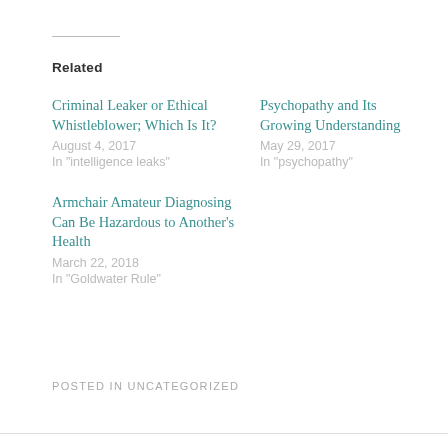Related
Criminal Leaker or Ethical Whistleblower; Which Is It?
August 4, 2017
In "intelligence leaks"
Psychopathy and Its Growing Understanding
May 29, 2017
In "psychopathy"
Armchair Amateur Diagnosing Can Be Hazardous to Another's Health
March 22, 2018
In "Goldwater Rule"
POSTED IN UNCATEGORIZED